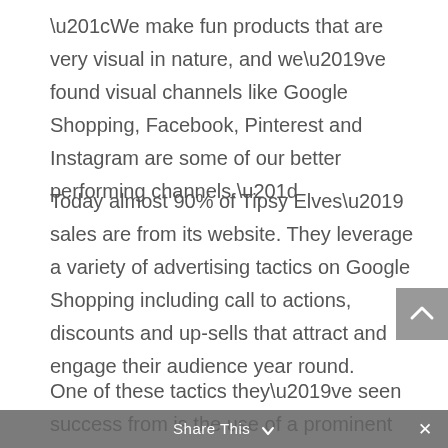“We make fun products that are very visual in nature, and we’ve found visual channels like Google Shopping, Facebook, Pinterest and Instagram are some of our better performing channels.”
Today almost 90% of Tipsy Elves’ sales are from its website. They leverage a variety of advertising tactics on Google Shopping including call to actions, discounts and up-sells that attract and engage their audience year round.
One of these tactics they’ve seen success from is the use of a prominent tool in checkout. The tool gives shoppers and option to round up their order to the nearest dollar, and donate the excess